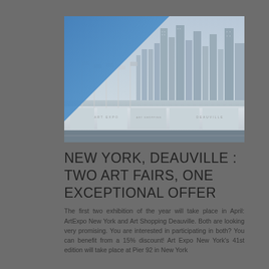[Figure (photo): Composite image showing a blue triangle overlay on the top-left corner, and a New York City skyline with tall skyscrapers in the upper-right portion. The bottom section shows a pier/waterfront building (Pier 92 or similar), with flags visible in the middle ground.]
NEW YORK, DEAUVILLE : TWO ART FAIRS, ONE EXCEPTIONAL OFFER
The first two exhibition of the year will take place in April: ArtExpo New York and Art Shopping Deauville. Both are looking very promising. You are interested in participating in both? You can benefit from a 15% discount! Art Expo New York's 41st edition will take place at Pier 92 in New York